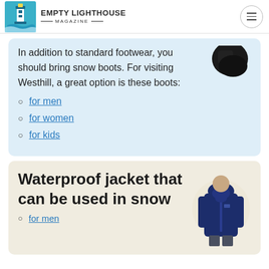EMPTY LIGHTHOUSE MAGAZINE
In addition to standard footwear, you should bring snow boots. For visiting Westhill, a great option is these boots:
for men
for women
for kids
Waterproof jacket that can be used in snow
for men